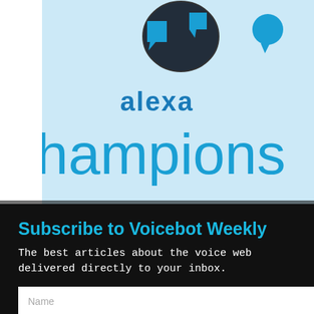[Figure (illustration): Alexa Champions promotional banner with light blue background, globe/chat icon graphic at top, 'alexa' text in dark blue bold, 'Champions' in large light blue text, and 'alexa LIVE' badge on the right side with a blue circle balloon.]
AMAZON ALEXA | NEWS | VOICE APP DEVELOPMENT
AMAZON SELECTS 10 NEW ALEXA CHAMPIONS
nk of Alexa
am
[Figure (screenshot): Subscribe to Voicebot Weekly modal popup overlay on black background. Contains title 'Subscribe to Voicebot Weekly', subtitle 'The best articles about the voice web delivered directly to your inbox.', Name input field, Email input field, and a cyan SUBSCRIBE button. A white X close button is visible at top right of modal.]